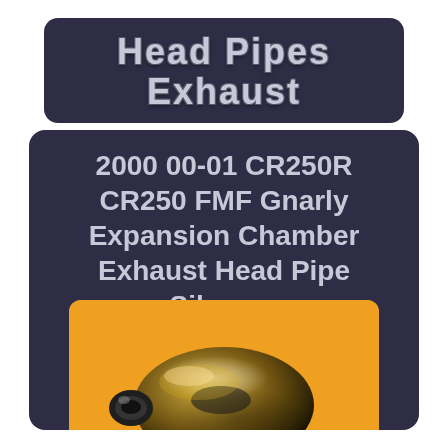Head Pipes Exhaust
2000 00-01 CR250R CR250 FMF Gnarly Expansion Chamber Exhaust Head Pipe Silencer
[Figure (photo): Chrome/gold metallic exhaust pipe head on an orange background, showing the curved expansion chamber of an FMF Gnarly exhaust pipe]